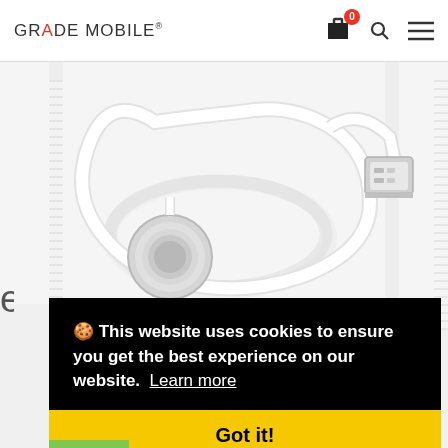GRADE MOBILE®
[Figure (photo): Apple Watch magnetic charging cable with USB connector on white background]
🍪 This website uses cookies to ensure you get the best experience on our website.  Learn more
Got it!